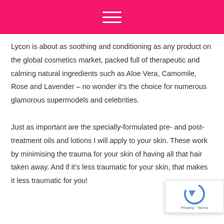Lycon is about as soothing and conditioning as any product on the global cosmetics market, packed full of therapeutic and calming natural ingredients such as Aloe Vera, Camomile, Rose and Lavender – no wonder it's the choice for numerous glamorous supermodels and celebrities.

Just as important are the specially-formulated pre- and post-treatment oils and lotions I will apply to your skin. These work by minimising the trauma for your skin of having all that hair taken away. And if it's less traumatic for your skin, that makes it less traumatic for you!